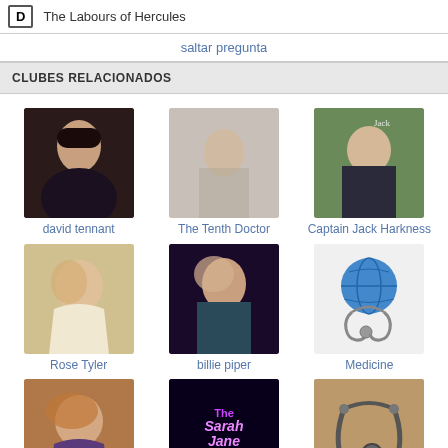D  The Labours of Hercules
saltar pregunta
CLUBES RELACIONADOS
[Figure (photo): david tennant - portrait photo of young man]
david tennant
[Figure (photo): The Tenth Doctor - blurred portrait]
The Tenth Doctor
[Figure (photo): Captain Jack Harkness - man smiling with Jack watermark]
Captain Jack Harkness
[Figure (photo): Rose Tyler - blonde woman smiling]
Rose Tyler
[Figure (photo): billie piper - woman with dramatic makeup]
billie piper
[Figure (illustration): Medicine - globe with stethoscope]
Medicine
[Figure (photo): Donna Noble - red-haired woman]
Donna Noble
[Figure (photo): The Sarah Jane Adventures - logo/title card]
The Sarah Jane Adventures
[Figure (photo): Applying to Medical School - stethoscope on wood]
Applying to Medical School
más clubes >>